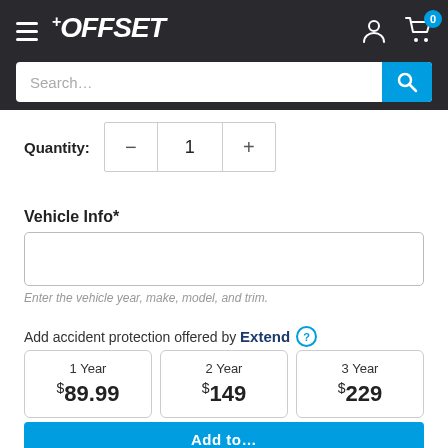OFFSET — navigation header with hamburger menu, logo, user icon, cart icon with badge 0, and search bar
Quantity: 1
Vehicle Info*
Enter the vehicle year, make, model, and trim.
Add accident protection offered by Extend
| Plan | Price |
| --- | --- |
| 1 Year | $89.99 |
| 2 Year | $149 |
| 3 Year | $229 |